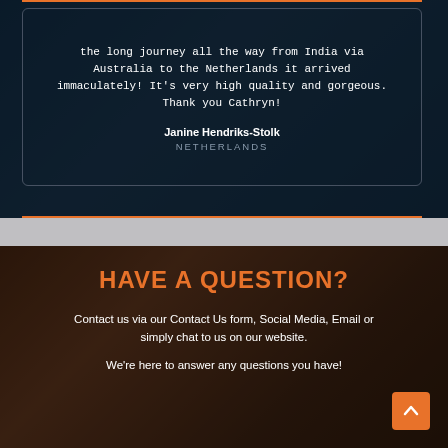the long journey all the way from India via Australia to the Netherlands it arrived immaculately! It's very high quality and gorgeous. Thank you Cathryn!
Janine Hendriks-Stolk
NETHERLANDS
HAVE A QUESTION?
Contact us via our Contact Us form, Social Media, Email or simply chat to us on our website.
We're here to answer any questions you have!